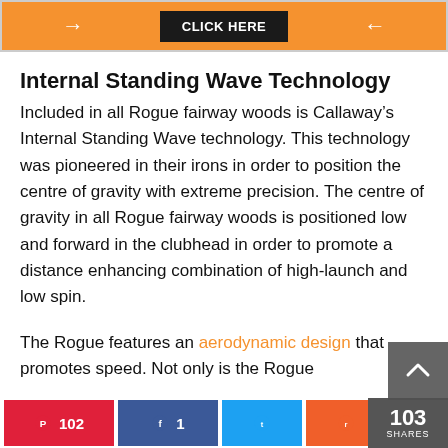[Figure (infographic): Orange banner with white arrows on both sides and a dark 'CLICK HERE' button in the center]
Internal Standing Wave Technology
Included in all Rogue fairway woods is Callaway’s Internal Standing Wave technology. This technology was pioneered in their irons in order to position the centre of gravity with extreme precision. The centre of gravity in all Rogue fairway woods is positioned low and forward in the clubhead in order to promote a distance enhancing combination of high-launch and low spin.
The Rogue features an aerodynamic design that promotes speed. Not only is the Rogue
[Figure (infographic): Social share bar with Pinterest (102), Facebook (1), Twitter, Reddit buttons, and a total of 103 SHARES counter]